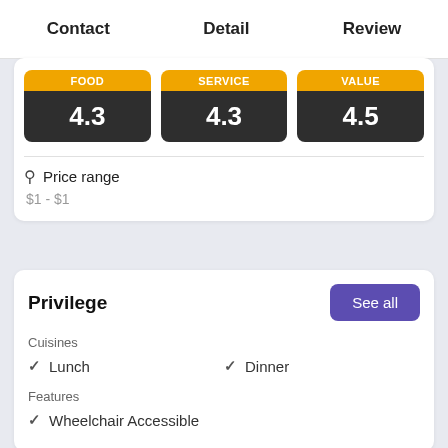Contact  Detail  Review
[Figure (infographic): Three score boxes: FOOD 4.3, SERVICE 4.3, VALUE 4.5 on dark/orange tiles]
Price range
$1 - $1
Privilege
Cuisines
✓ Lunch
✓ Dinner
Features
✓ Wheelchair Accessible